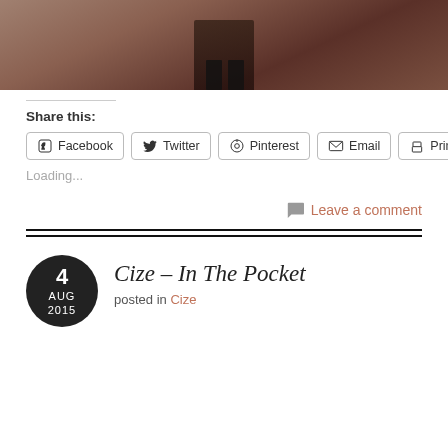[Figure (photo): Partial photo of a person's legs/feet on a wooden floor, warm reddish-brown tones]
Share this:
Facebook  Twitter  Pinterest  Email  Print
Loading...
Leave a comment
Cize – In The Pocket
posted in Cize